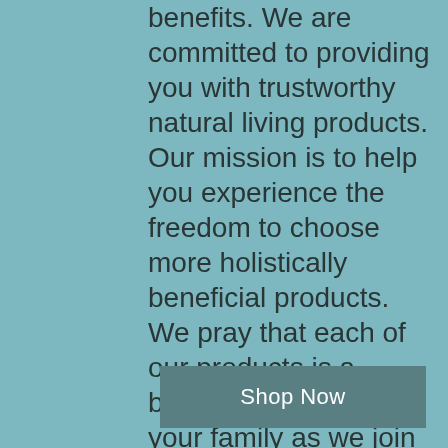benefits. We are committed to providing you with trustworthy natural living products. Our mission is to help you experience the freedom to choose more holistically beneficial products. We pray that each of our products is a blessing to you and your family as we join together on this journey.
~ Blessings,
Amanda
Be Free Natural Living
Shop Now